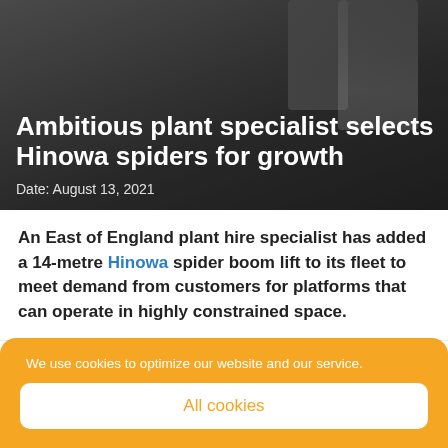Ambitious plant specialist selects Hinowa spiders for growth
Date: August 13, 2021
An East of England plant hire specialist has added a 14-metre Hinowa spider boom lift to its fleet to meet demand from customers for platforms that can operate in highly constrained space.
We use cookies to optimize our website and our service.
All cookies
Deny
Cookie policy